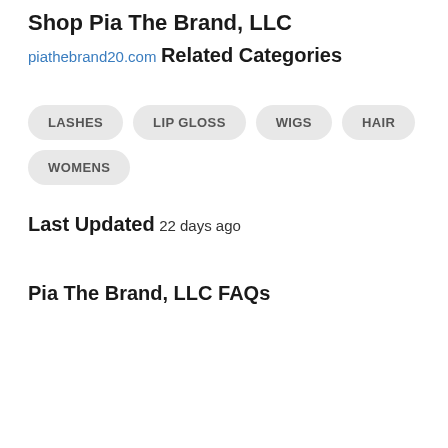Shop Pia The Brand, LLC
piathebrand20.com
Related Categories
LASHES
LIP GLOSS
WIGS
HAIR
WOMENS
Last Updated
22 days ago
Pia The Brand, LLC FAQs